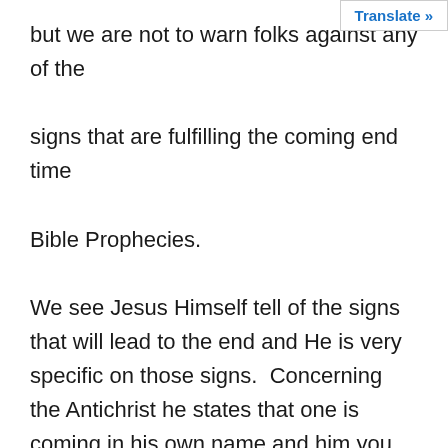Translate »
but we are not to warn folks against any of the signs that are fulfilling the coming end time Bible Prophecies.

We see Jesus Himself tell of the signs that will lead to the end and He is very specific on those signs.  Concerning the Antichrist he states that one is coming in his own name and him you will accept. He doesn't even mention him during his abomination of desolation warning. Jesus affirms that when this occurs he warns the Jews to flee because there will be such great tribulation as never before in the history of the world.  In Matthew 24:20 Jesus tells the Tribulation Saints to pray that their flight is not